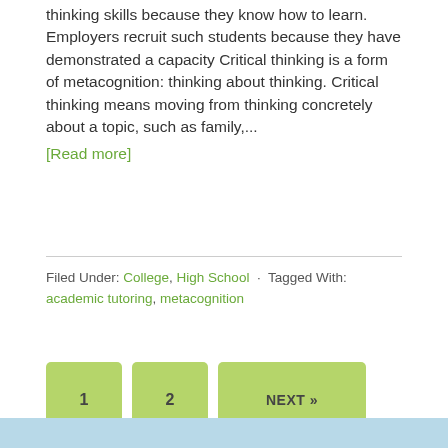thinking skills because they know how to learn. Employers recruit such students because they have demonstrated a capacity Critical thinking is a form of metacognition: thinking about thinking. Critical thinking means moving from thinking concretely about a topic, such as family,... [Read more]
Filed Under: College, High School · Tagged With: academic tutoring, metacognition
1 2 NEXT »